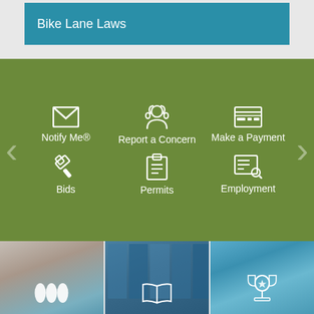Bike Lane Laws
[Figure (screenshot): Government website navigation panel with green background showing 6 quick-link icons: Notify Me, Report a Concern, Make a Payment, Bids, Permits, Employment with left/right navigation arrows]
[Figure (photo): Three photo tiles at the bottom showing lifestyle/community images with icons overlaid: fitness/activity photo with tree/leaf icons, library/books photo with open book icon, sports/recreation photo with trophy/award icon]